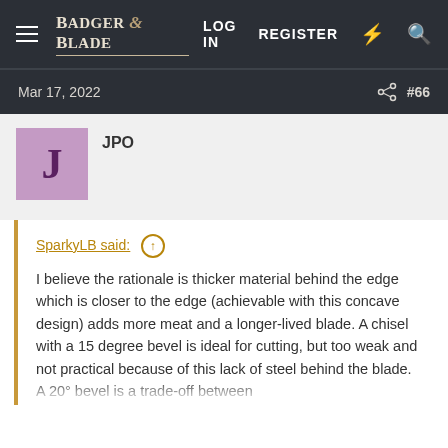Badger & Blade | LOG IN  REGISTER
Mar 17, 2022  #66
JPO
SparkyLB said: ↑

I believe the rationale is thicker material behind the edge which is closer to the edge (achievable with this concave design) adds more meat and a longer-lived blade. A chisel with a 15 degree bevel is ideal for cutting, but too weak and not practical because of this lack of steel behind the blade. A 20° bevel is a trade-off between